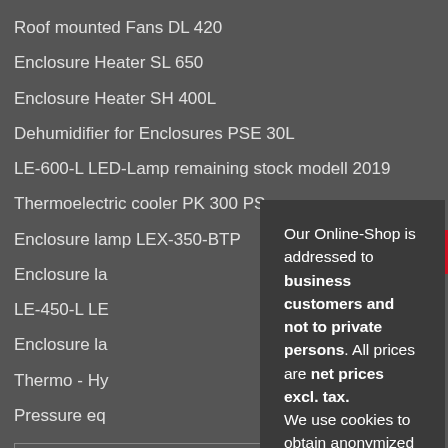Roof mounted Fans DL 420
Enclosure Heater SL 650
Enclosure Heater SH 400L
Dehumidifier for Enclosures PSE 30L
LE-600-L LED-Lamp remaining stock modell 2019
Thermoelectric cooler PK 300 PS
Enclosure lamp LEX-350-BTP
Enclosure la…
LE-450-L LE…
Enclosure la…
Thermo - Hy…
Pressure eq…
✓ 3% On…
✓ Export Cart to PDF / Open Catalog Interchange
Our Online-Shop is addressed to business customers and not to private persons. All prices are net prices excl. tax. We use cookies to obtain anonymized information about the use of our website and thus to be able to continuously improve our offer. Privacy policy